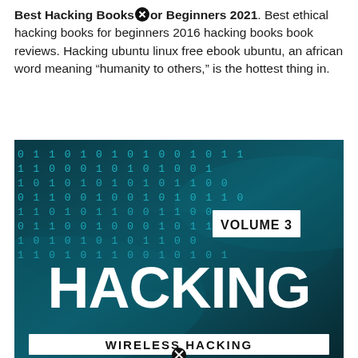Best Hacking Books for Beginners 2021. Best ethical hacking books for beginners 2016 hacking books book reviews. Hacking ubuntu linux free ebook ubuntu, an african word meaning "humanity to others," is the hottest thing in.
[Figure (illustration): Book cover for 'Hacking Volume 3: Wireless Hacking' with a dark teal background showing binary code (0s and 1s) pattern, a white box labeled 'VOLUME 3' in the upper right, large white bold text 'HACKING' in the center, and a white banner at the bottom reading 'WIRELESS HACKING'. Two close/X icons are visible overlaid on the image.]